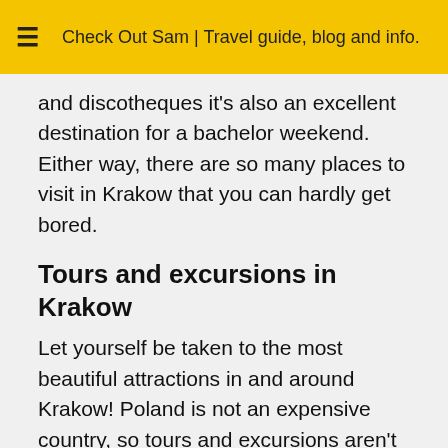Check Out Sam | Travel guide, blog and info.
and discotheques it's also an excellent destination for a bachelor weekend. Either way, there are so many places to visit in Krakow that you can hardly get bored.
Tours and excursions in Krakow
Let yourself be taken to the most beautiful attractions in and around Krakow! Poland is not an expensive country, so tours and excursions aren't very expensive. Curious about what you